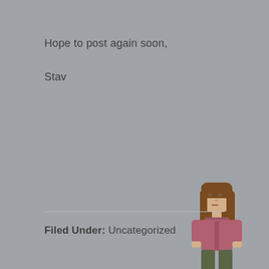Hope to post again soon,
Stav
[Figure (illustration): Pixel-art style illustration of a young woman with long brown hair, wearing a mauve/pink top and dark olive-green pants, standing upright]
Filed Under: Uncategorized